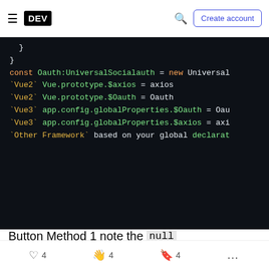DEV | Create account
[Figure (screenshot): Code block on dark background showing JavaScript code: closing braces, const Oauth:UniversalSocialauth = new Universal..., Vue2 Vue.prototype.$axios = axios, Vue2 Vue.prototype.$Oauth = Oauth, Vue3 app.config.globalProperties.$Oauth = Oau..., Vue3 app.config.globalProperties.$axios = axi..., Other Framework based on your global declarat...]
Button Method 1 note the null value this equal
4  4  4  ...